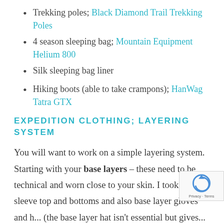Trekking poles; Black Diamond Trail Trekking Poles
4 season sleeping bag; Mountain Equipment Helium 800
Silk sleeping bag liner
Hiking boots (able to take crampons); HanWag Tatra GTX
EXPEDITION CLOTHING; LAYERING SYSTEM
You will want to work on a simple layering system. Starting with your base layers – these need to be technical and worn close to your skin. I took a long-sleeve top and bottoms and also base layer gloves and h... (the base layer hat isn't essential but gives...